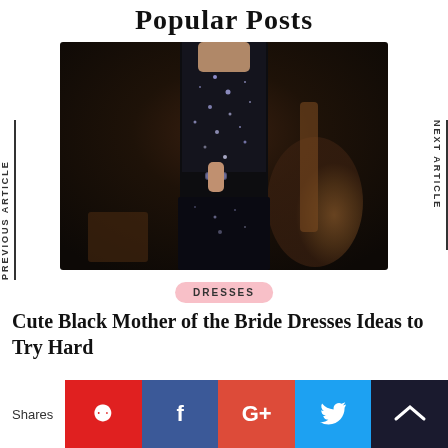Popular Posts
[Figure (photo): Woman wearing a black sequined floor-length gown, with a cello and musical instruments in the dark background.]
PREVIOUS ARTICLE
NEXT ARTICLE
DRESSES
Cute Black Mother of the Bride Dresses Ideas to Try Hard
Shares